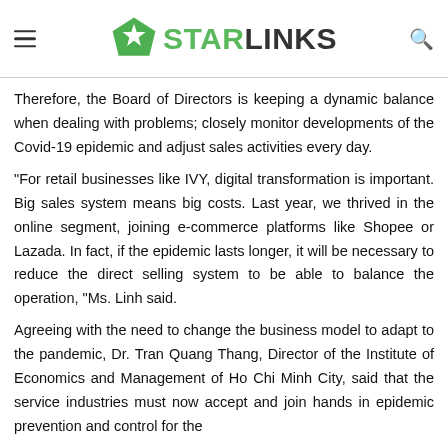STARLINKS
Therefore, the Board of Directors is keeping a dynamic balance when dealing with problems; closely monitor developments of the Covid-19 epidemic and adjust sales activities every day.
"For retail businesses like IVY, digital transformation is important. Big sales system means big costs. Last year, we thrived in the online segment, joining e-commerce platforms like Shopee or Lazada. In fact, if the epidemic lasts longer, it will be necessary to reduce the direct selling system to be able to balance the operation, "Ms. Linh said.
Agreeing with the need to change the business model to adapt to the pandemic, Dr. Tran Quang Thang, Director of the Institute of Economics and Management of Ho Chi Minh City, said that the service industries must now accept and join hands in epidemic prevention and control for the